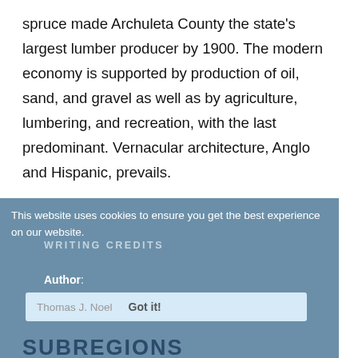spruce made Archuleta County the state's largest lumber producer by 1900. The modern economy is supported by production of oil, sand, and gravel as well as by agriculture, lumbering, and recreation, with the last predominant. Vernacular architecture, Anglo and Hispanic, prevails.
This website uses cookies to ensure you get the best experience on our website.
WRITING CREDITS
Author:
Thomas J. Noel   Got it!
SUBREGIONS